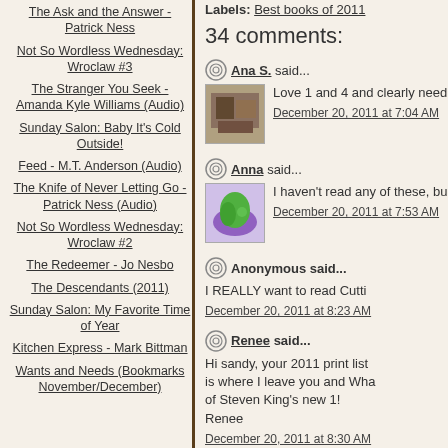The Ask and the Answer - Patrick Ness
Not So Wordless Wednesday: Wroclaw #3
The Stranger You Seek - Amanda Kyle Williams (Audio)
Sunday Salon: Baby It's Cold Outside!
Feed - M.T. Anderson (Audio)
The Knife of Never Letting Go - Patrick Ness (Audio)
Not So Wordless Wednesday: Wroclaw #2
The Redeemer - Jo Nesbo
The Descendants (2011)
Sunday Salon: My Favorite Time of Year
Kitchen Express - Mark Bittman
Wants and Needs (Bookmarks November/December)
Labels: Best books of 2011
34 comments:
Ana S. said...
Love 1 and 4 and clearly need
December 20, 2011 at 7:04 AM
Anna said...
I haven't read any of these, bu
December 20, 2011 at 7:53 AM
Anonymous said...
I REALLY want to read Cutti
December 20, 2011 at 8:23 AM
Renee said...
Hi sandy, your 2011 print list is where I leave you and Wha of Steven King's new 1!
Renee
December 20, 2011 at 8:30 AM
rhapsodyinbooks said